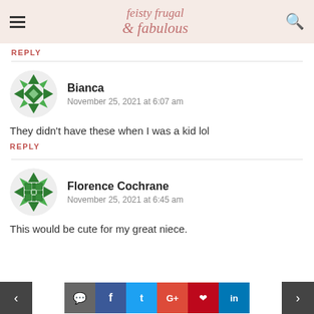feisty frugal fabulous
REPLY
Bianca
November 25, 2021 at 6:07 am
They didn't have these when I was a kid lol
REPLY
Florence Cochrane
November 25, 2021 at 6:45 am
This would be cute for my great niece.
< comment facebook twitter google+ pinterest linkedin >